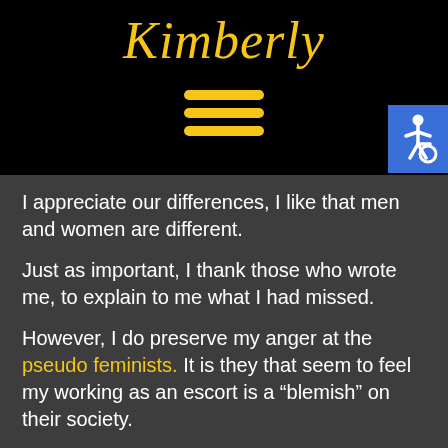Kimberly
[Figure (other): Hamburger menu icon with three horizontal yellow bars, and a blue accessibility (wheelchair) icon in the top right corner]
I appreciate our differences, I like that men and women are different.
Just as important, I thank those who wrote me, to explain to me what I had missed.
However, I do preserve my anger at the pseudo feminists. It is they that seem to feel my working as an escort is a “blemish” on their society.
Jobs I’m Open to..